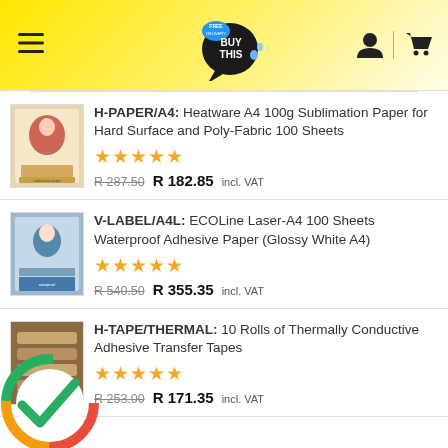BUY THIS (Free) - navigation header with hamburger menu, logo, user and cart icons
H-PAPER/A4: Heatware A4 100g Sublimation Paper for Hard Surface and Poly-Fabric 100 Sheets
★★★★★
R 287.50  R 182.85 incl. VAT
V-LABEL/A4L: ECOLine Laser-A4 100 Sheets Waterproof Adhesive Paper (Glossy White A4)
★★★★★
R 540.50  R 355.35 incl. VAT
H-TAPE/THERMAL: 10 Rolls of Thermally Conductive Adhesive Transfer Tapes
★★★★★
R 253.00  R 171.35 incl. VAT